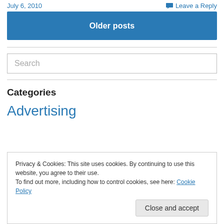July 6, 2010
Leave a Reply
Older posts
Search
Categories
Advertising
Privacy & Cookies: This site uses cookies. By continuing to use this website, you agree to their use. To find out more, including how to control cookies, see here: Cookie Policy
Close and accept